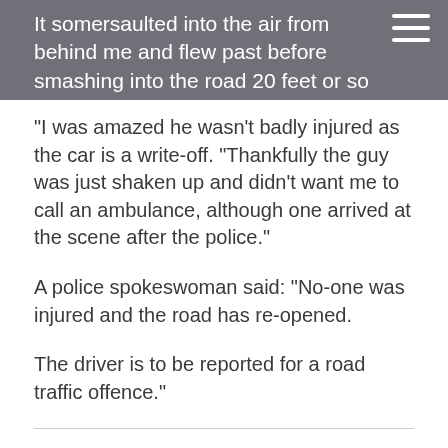It somersaulted into the air from behind me and flew past before smashing into the road 20 feet or so ahead. I was quite lucky.
“I was amazed he wasn’t badly injured as the car is a write-off. “Thankfully the guy was just shaken up and didn’t want me to call an ambulance, although one arrived at the scene after the police.”
A police spokeswoman said: “No-one was injured and the road has re-opened.
The driver is to be reported for a road traffic offence.”
DO YOU WANT TO RESPOND TO THIS ARTICLE?
IF SO, CLICK HERE TO SUBMIT YOUR THOUGHTS AND THEY